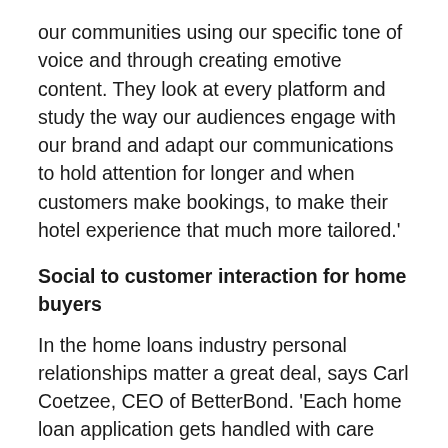our communities using our specific tone of voice and through creating emotive content. They look at every platform and study the way our audiences engage with our brand and adapt our communications to hold attention for longer and when customers make bookings, to make their hotel experience that much more tailored.'
Social to customer interaction for home buyers
In the home loans industry personal relationships matter a great deal, says Carl Coetzee, CEO of BetterBond. 'Each home loan application gets handled with care and attention because we know property ownership can be life-changing as it can help secure your financial future.' A community manager makes it possible to engage directly and